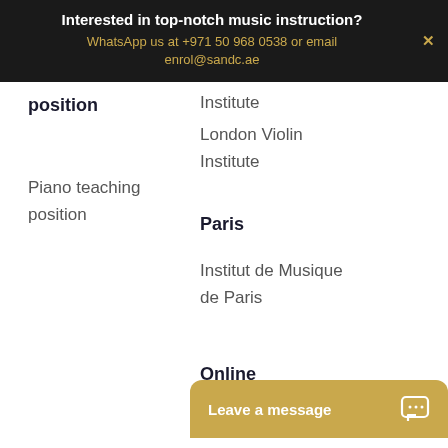Interested in top-notch music instruction?
WhatsApp us at +971 50 968 0538 or email enrol@sandc.ae
position
Institute
London Violin
Institute
Piano teaching position
Paris
Institut de Musique de Paris
Online
Leave a message